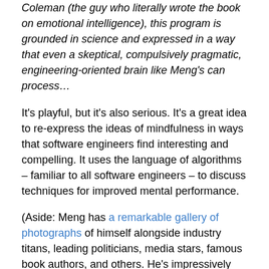Coleman (the guy who literally wrote the book on emotional intelligence), this program is grounded in science and expressed in a way that even a skeptical, compulsively pragmatic, engineering-oriented brain like Meng's can process…
It's playful, but it's also serious. It's a great idea to re-express the ideas of mindfulness in ways that software engineers find interesting and compelling. It uses the language of algorithms – familiar to all software engineers – to discuss techniques for improved mental performance.
(Aside: Meng has a remarkable gallery of photographs of himself alongside industry titans, leading politicians, media stars, famous book authors, and others. He's impressively well connected.)
But does this stuff work?